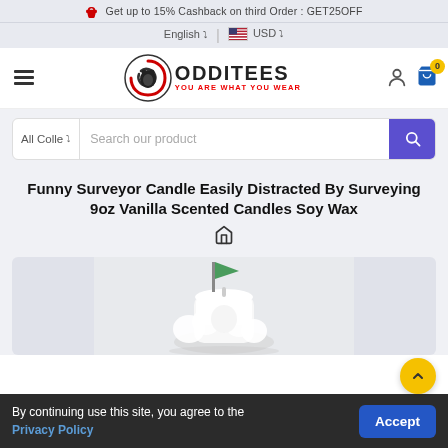Get up to 15% Cashback on third Order : GET25OFF
English ▾ | 🇺🇸 USD ▾
[Figure (logo): ODDITEES logo with circular swirl emblem and tagline YOU ARE WHAT YOU WEAR in red]
[Figure (screenshot): Search bar with All Colle dropdown and Search our product placeholder, purple search button]
Funny Surveyor Candle Easily Distracted By Surveying 9oz Vanilla Scented Candles Soy Wax
[Figure (photo): Product photo of a white vanilla scented candle with a green surveying flag decoration, soft light background]
By continuing use this site, you agree to the Privacy Policy